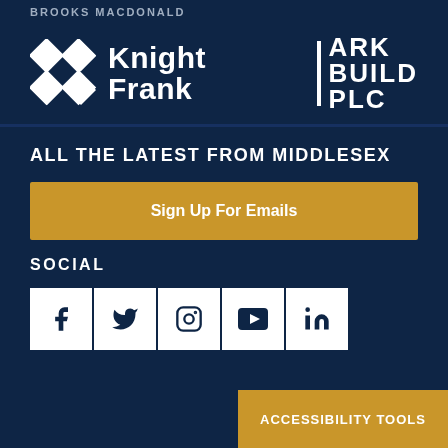BROOKS MACDONALD
[Figure (logo): Knight Frank logo with diamond pattern and text]
[Figure (logo): ARK BUILD PLC logo with vertical bar]
ALL THE LATEST FROM MIDDLESEX
Sign Up For Emails
SOCIAL
[Figure (infographic): Social media icons: Facebook, Twitter, Instagram, YouTube, LinkedIn]
ACCESSIBILITY TOOLS